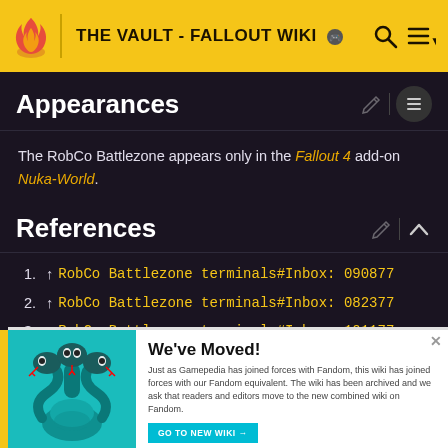THE VAULT - FALLOUT WIKI
Appearances
The RobCo Battlezone appears only in the Fallout 4 add-on Nuka-World.
References
1. ↑ RobCo Battlezone terminals#Inbox: 090877
2. ↑ RobCo Battlezone terminals#Inbox: 082377
3. ↑ RobCo Battlezone terminals#Inbox: 101177
[Figure (illustration): Three-headed snake monster illustration on teal background with We've Moved! banner]
We've Moved! Just as Gamepedia has joined forces with Fandom, this wiki has joined forces with our Fandom equivalent. The wiki has been archived and we ask that readers and editors move to the new combined wiki on Fandom.
GO TO NEW WIKI →